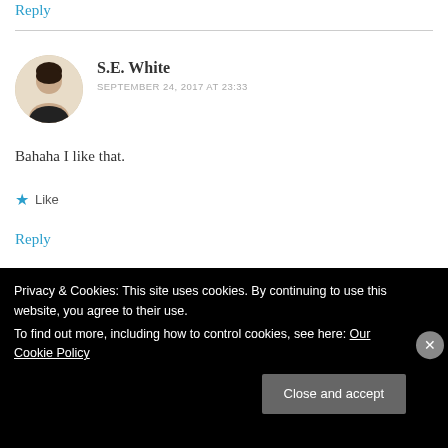Reply
S.E. White
SEPTEMBER 24, 2017 AT 23:33
Bahaha I like that.
Like
Reply
Privacy & Cookies: This site uses cookies. By continuing to use this website, you agree to their use. To find out more, including how to control cookies, see here: Our Cookie Policy
Close and accept